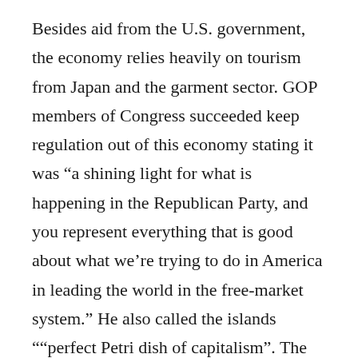Besides aid from the U.S. government, the economy relies heavily on tourism from Japan and the garment sector. GOP members of Congress succeeded keep regulation out of this economy stating it was “a shining light for what is happening in the Republican Party, and you represent everything that is good about what we’re trying to do in America in leading the world in the free-market system.” He also called the islands ““perfect Petri dish of capitalism”. The islands enjoy free trade with the U.S. and a minimum wage of $3.05 an hour. Other worker protections tend to be low, which prompts many liberals to argue its garments can be labeled “Made in USA” without having to